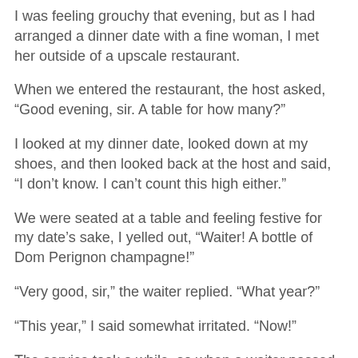I was feeling grouchy that evening, but as I had arranged a dinner date with a fine woman, I met her outside of a upscale restaurant.
When we entered the restaurant, the host asked, “Good evening, sir. A table for how many?”
I looked at my dinner date, looked down at my shoes, and then looked back at the host and said, “I don’t know. I can’t count this high either.”
We were seated at a table and feeling festive for my date’s sake, I yelled out, “Waiter! A bottle of Dom Perignon champagne!”
“Very good, sir,” the waiter replied. “What year?”
“This year,” I said somewhat irritated. “Now!”
The service took a while, so when a waiter passed by, I said